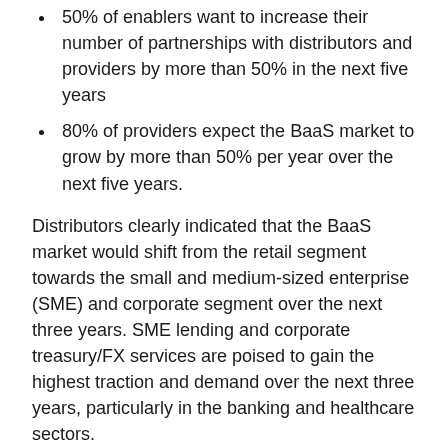50% of enablers want to increase their number of partnerships with distributors and providers by more than 50% in the next five years
80% of providers expect the BaaS market to grow by more than 50% per year over the next five years.
Distributors clearly indicated that the BaaS market would shift from the retail segment towards the small and medium-sized enterprise (SME) and corporate segment over the next three years. SME lending and corporate treasury/FX services are poised to gain the highest traction and demand over the next three years, particularly in the banking and healthcare sectors.
Point of Sale (POS) financing (in which fixed-